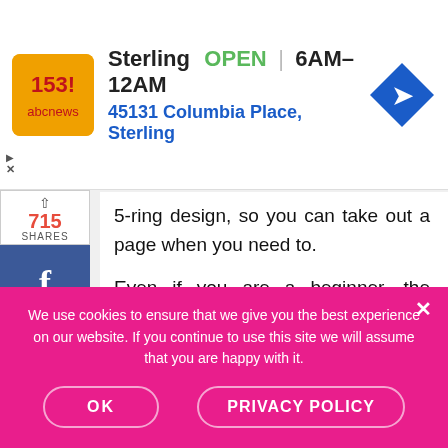[Figure (infographic): Ad banner: Sterling store logo, OPEN label, hours 6AM-12AM, address 45131 Columbia Place Sterling, navigation arrow icon]
5-ring design, so you can take out a page when you need to.
Even if you are a beginner, the simple and clear instructions can make you seem like an experienced teacher. The clear and simple instructions include specific examples, wording, time
We use cookies to ensure that we give you the best experience on our website. If you continue to use this site we will assume that you are happy with it.
OK
PRIVACY POLICY